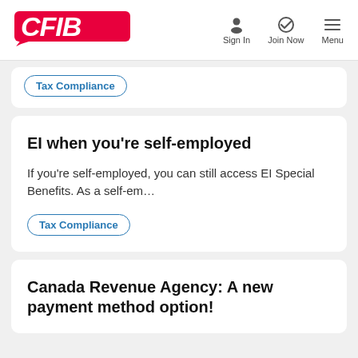CFIB | Sign In | Join Now | Menu
(tag link — truncated card above)
EI when you're self-employed
If you're self-employed, you can still access EI Special Benefits.  As a self-em…
Tax Compliance
Canada Revenue Agency: A new payment method option!